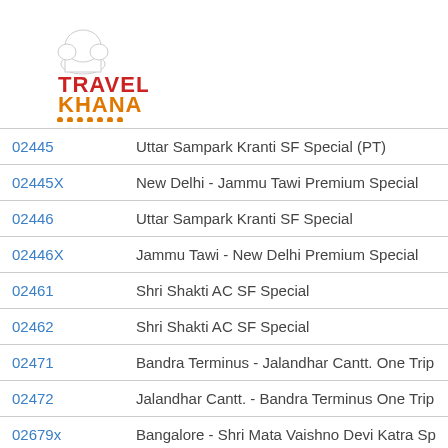[Figure (logo): Travel Khana logo with chef hat icon, TRAVEL in red and KHANA in orange text, with orange dots underline]
| Train No | Train Name |
| --- | --- |
| 02445 | Uttar Sampark Kranti SF Special (PT) |
| 02445X | New Delhi - Jammu Tawi Premium Special |
| 02446 | Uttar Sampark Kranti SF Special |
| 02446X | Jammu Tawi - New Delhi Premium Special |
| 02461 | Shri Shakti AC SF Special |
| 02462 | Shri Shakti AC SF Special |
| 02471 | Bandra Terminus - Jalandhar Cantt. One Trip |
| 02472 | Jalandhar Cantt. - Bandra Terminus One Trip |
| 02679x | Bangalore - Shri Mata Vaishno Devi Katra Sp |
| 02680x | Shri Mata Vaishno Devi Katra-Yesvantpur Sp |